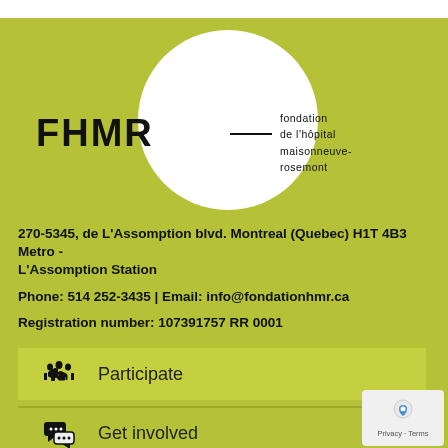[Figure (logo): FHMR - Fondation de l'hôpital Maisonneuve-Rosemont logo. White circle on yellow-green background with FHMR lettering and full name.]
270-5345, de L'Assomption blvd. Montreal (Quebec) H1T 4B3 Metro - L'Assomption Station
Phone: 514 252-3435 | Email: info@fondationhmr.ca
Registration number: 107391757 RR 0001
[Figure (infographic): Handshake icon with label 'Participate' on yellow-green bar]
[Figure (infographic): Speech bubbles icon with label 'Get involved' on yellow-green bar]